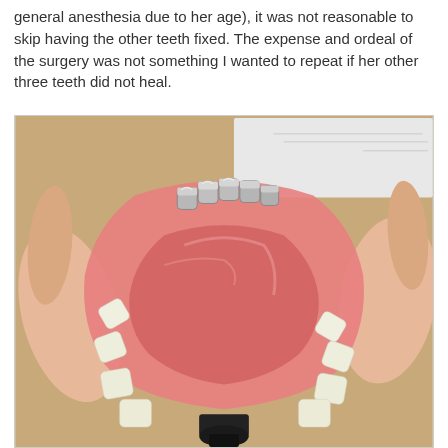general anesthesia due to her age), it was not reasonable to skip having the other teeth fixed. The expense and ordeal of the surgery was not something I wanted to repeat if her other three teeth did not heal.
[Figure (photo): A dental model being held in a hand, showing an upper jaw arch with white molars and several silver/metal dental crowns on the front teeth. The model has a pink gum base and a black articulator attachment at the bottom. Photographed on a wooden surface with a blurred document in the background.]